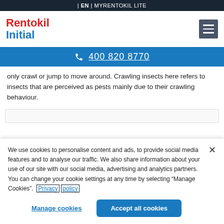| EN | MYRENTOKIL LITE
[Figure (logo): Rentokil Initial logo in red and blue text]
400 820 8770
only crawl or jump to move around. Crawling insects here refers to insects that are perceived as pests mainly due to their crawling behaviour.
We use cookies to personalise content and ads, to provide social media features and to analyse our traffic. We also share information about your use of our site with our social media, advertising and analytics partners. You can change your cookie settings at any time by selecting “Manage Cookies”.  Privacy policy
Manage cookies
Accept all cookies